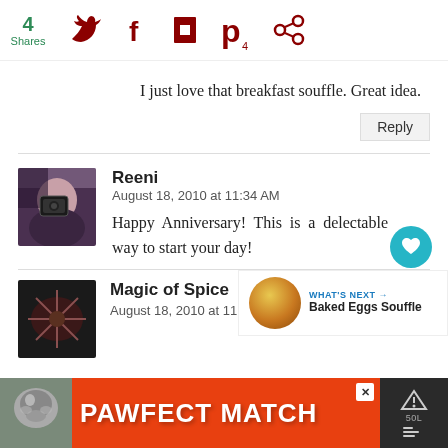[Figure (infographic): Social share bar with 4 shares count in green, Twitter bird icon, Facebook f icon, Flipboard icon, Pinterest P icon with 4 count, and circle share icon — all in dark red/maroon]
I just love that breakfast souffle. Great idea.
Reply
[Figure (photo): Small avatar photo of Reeni, a woman holding a camera, dark background]
Reeni
August 18, 2010 at 11:34 AM
Happy Anniversary! This is a delectable way to start your day!
[Figure (infographic): Teal heart button (favorite/like) and white circle share button with share icon]
[Figure (infographic): WHAT'S NEXT card with round food image and title 'Baked Eggs Souffle']
[Figure (photo): Small avatar photo of Magic of Spice with dark spice/flower background]
Magic of Spice
August 18, 2010 at 11:47 AM
[Figure (infographic): Advertisement banner: PAWFECT MATCH with cat photo on orange background, close button, and dark right panel]